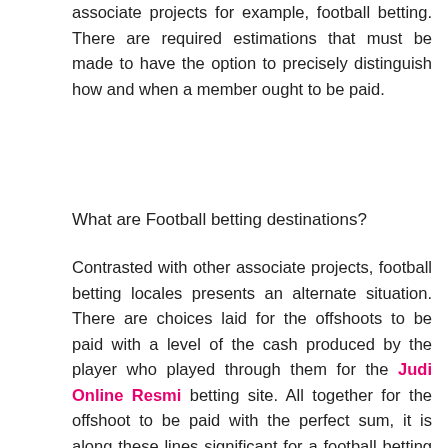associate projects for example, football betting. There are required estimations that must be made to have the option to precisely distinguish how and when a member ought to be paid.
What are Football betting destinations?
Contrasted with other associate projects, football betting locales presents an alternate situation. There are choices laid for the offshoots to be paid with a level of the cash produced by the player who played through them for the Judi Online Resmi betting site. All together for the offshoot to be paid with the perfect sum, it is along these lines significant for a football betting site or partner program to follow and ascertain the betting of the major parts in the most exact way. Initial, an associate will be doled out with a novel URL all together for the football betting site to effectively find where the new player has accurately joined from. Another issue is to track the player once they are on the site all together for the subsidiary to be compensated